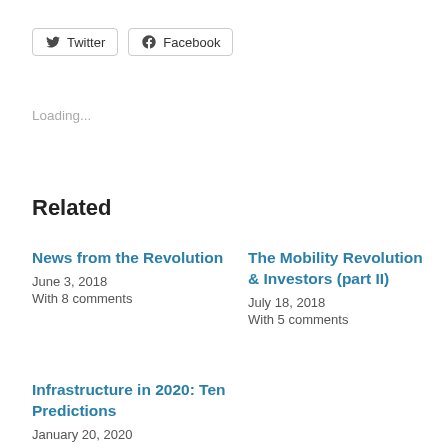Twitter
Facebook
Loading...
Related
News from the Revolution
June 3, 2018
With 8 comments
The Mobility Revolution & Investors (part II)
July 18, 2018
With 5 comments
Infrastructure in 2020: Ten Predictions
January 20, 2020